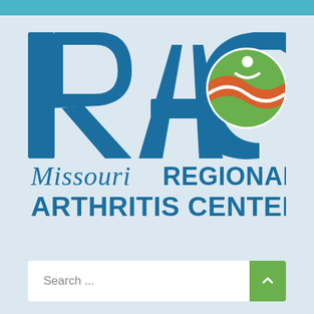[Figure (logo): RAC Missouri Regional Arthritis Centers logo with stylized R, A, C letters in dark blue and a circular icon with green, orange and white wave design representing a person]
Search ...